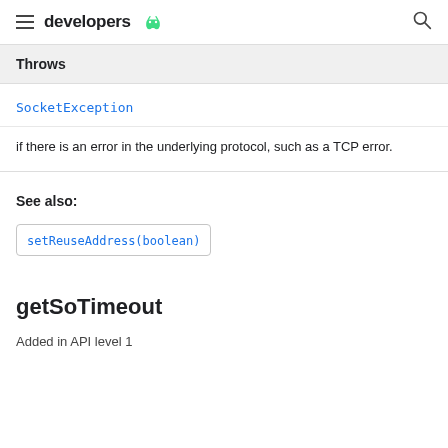developers
Throws
SocketException
if there is an error in the underlying protocol, such as a TCP error.
See also:
setReuseAddress(boolean)
getSoTimeout
Added in API level 1